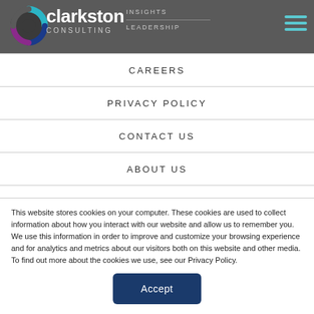Clarkston Consulting — INSIGHTS | LEADERSHIP
CAREERS
PRIVACY POLICY
CONTACT US
ABOUT US
ORDER AMPLIFIERS NOW
This website stores cookies on your computer. These cookies are used to collect information about how you interact with our website and allow us to remember you. We use this information in order to improve and customize your browsing experience and for analytics and metrics about our visitors both on this website and other media. To find out more about the cookies we use, see our Privacy Policy.
Accept